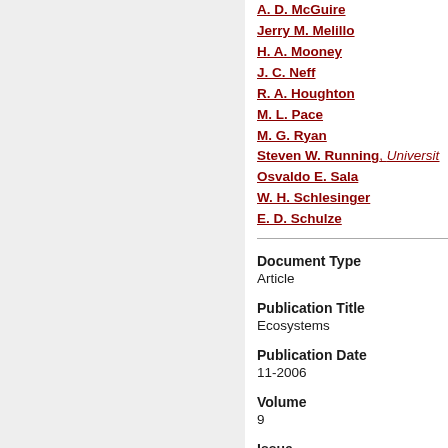A. D. McGuire
Jerry M. Melillo
H. A. Mooney
J. C. Neff
R. A. Houghton
M. L. Pace
M. G. Ryan
Steven W. Running, Universit…
Osvaldo E. Sala
W. H. Schlesinger
E. D. Schulze
Document Type
Article
Publication Title
Ecosystems
Publication Date
11-2006
Volume
9
Issue
7